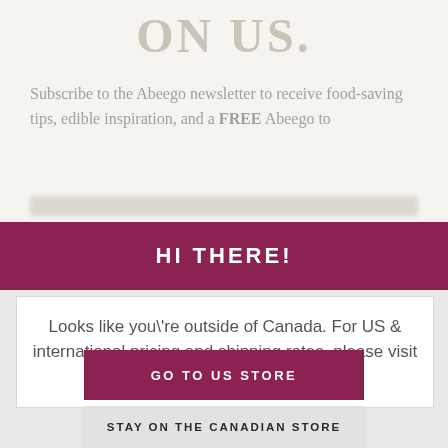ON US.
Subscribe to the Abeego newsletter to receive food-saving tips, edible inspiration, and a FREE Abeego to
HI THERE!
Looks like you\'re outside of Canada. For US & international pricing and shipping rates, please visit our US store.
GO TO US STORE
STAY ON THE CANADIAN STORE